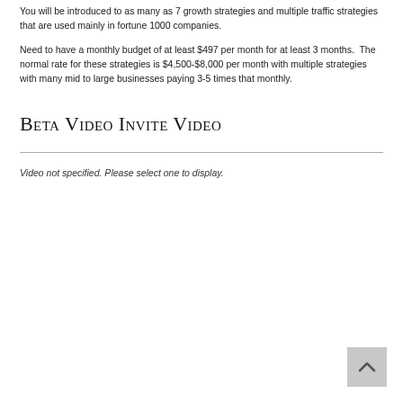You will be introduced to as many as 7 growth strategies and multiple traffic strategies that are used mainly in fortune 1000 companies.
Need to have a monthly budget of at least $497 per month for at least 3 months.  The normal rate for these strategies is $4,500-$8,000 per month with multiple strategies with many mid to large businesses paying 3-5 times that monthly.
Beta Video Invite Video
Video not specified. Please select one to display.